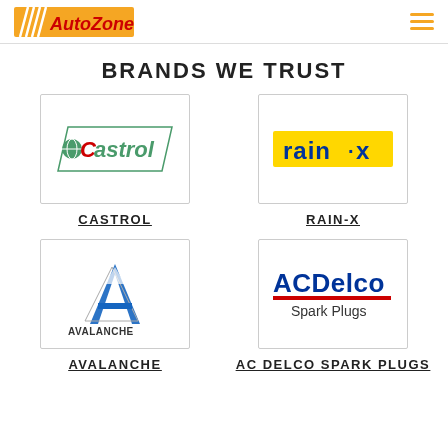AutoZone
BRANDS WE TRUST
[Figure (logo): Castrol oil brand logo with red script text and globe icon]
CASTROL
[Figure (logo): Rain-X brand logo in blue text on yellow background]
RAIN-X
[Figure (logo): Avalanche brand logo with blue A and mountains icon]
AVALANCHE
[Figure (logo): ACDelco Spark Plugs brand logo in blue text with red underline]
AC DELCO SPARK PLUGS